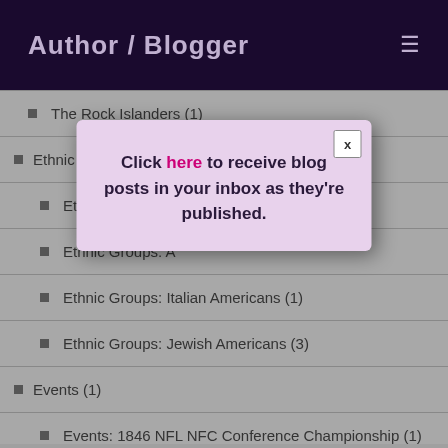Author / Blogger
The Rock Islanders (1)
Ethnic Groups (0)
Ethnic Groups: A… (truncated by modal)
Ethnic Groups: A… (truncated by modal)
Ethnic Groups: Italian Americans (1)
Ethnic Groups: Jewish Americans (3)
Events (1)
Events: 1846 NFC Championship (1)
[Figure (other): Modal popup dialog with pink/lavender background, close button labeled X, and text: Click here to receive blog posts in your inbox as they're published.]